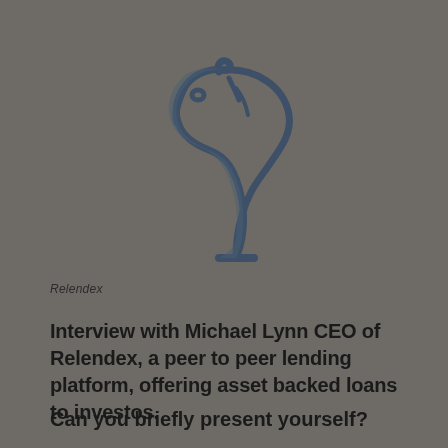[Figure (logo): Relendex chess knight logo — a stylized horse head silhouette in dark blue-grey line art on a grey background]
Relendex
Interview with Michael Lynn CEO of Relendex, a peer to peer lending platform, offering asset backed loans to investos.
Can you briefly present yourself?